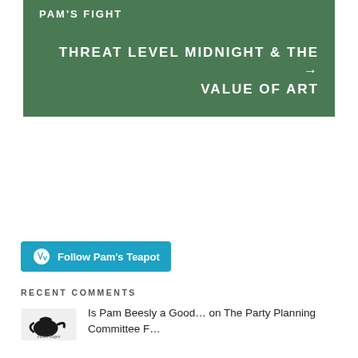PAM'S FIGHT
THREAT LEVEL MIDNIGHT & THE VALUE OF ART →
[Figure (other): Follow Pam's Teapot button with WordPress icon]
RECENT COMMENTS
Is Pam Beesly a Good… on The Party Planning Committee F…
Why do People Like M… on The Party Planning Committee F…